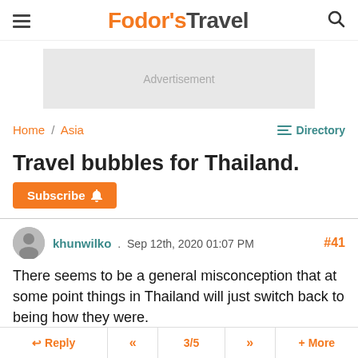Fodor's Travel
[Figure (other): Advertisement banner placeholder]
Home / Asia
Directory
Travel bubbles for Thailand.
Subscribe
khunwilko . Sep 12th, 2020 01:07 PM #41
There seems to be a general misconception that at some point things in Thailand will just switch back to being how they were.
Reply  «  3/5  »  + More